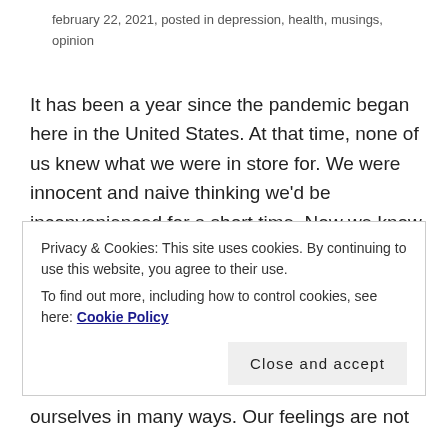february 22, 2021, posted in depression, health, musings, opinion
It has been a year since the pandemic began here in the United States. At that time, none of us knew what we were in store for. We were innocent and naive thinking we'd be inconvenienced for a short time. Now we know the hardships COVID19 is capable of causing. We wear masks, try to maintain a safe distance from others, don't hug our loved ones and avoid shopping or eating out. People are working from home. Children have been trying to learn through virtual lessons. People we know
Privacy & Cookies: This site uses cookies. By continuing to use this website, you agree to their use. To find out more, including how to control cookies, see here: Cookie Policy
ourselves in many ways. Our feelings are not unlike